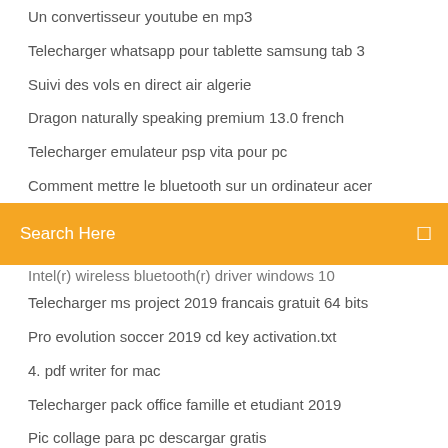Un convertisseur youtube en mp3
Telecharger whatsapp pour tablette samsung tab 3
Suivi des vols en direct air algerie
Dragon naturally speaking premium 13.0 french
Telecharger emulateur psp vita pour pc
Comment mettre le bluetooth sur un ordinateur acer
[Figure (screenshot): Orange search bar with text 'Search Here' and a search icon on the right]
Intel(r) wireless bluetooth(r) driver windows 10
Telecharger ms project 2019 francais gratuit 64 bits
Pro evolution soccer 2019 cd key activation.txt
4. pdf writer for mac
Telecharger pack office famille et etudiant 2019
Pic collage para pc descargar gratis
Scanner hp deskjet 1510 télécharger
Need for speed underground 2 pc télécharger completo
Je nai plus de connection wifi sur mon pc
Driver audio windows 7 32 bit hp
Jeux gratuit reine des neiges 4